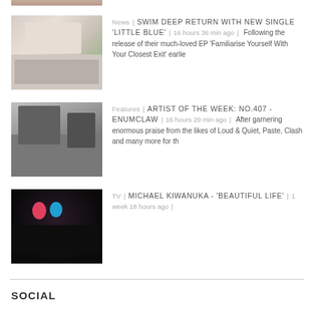[Figure (photo): Partial top thumbnail of people, cropped at top of page]
[Figure (photo): Ice cream van with group of young people standing outside]
News | SWIM DEEP RETURN WITH NEW SINGLE 'LITTLE BLUE' | 16 hours 36 min ago | Following the release of their much-loved EP 'Familiarise Yourself With Your Closest Exit' earlie
[Figure (photo): Group of young people sitting/standing on a car]
Features | ARTIST OF THE WEEK: NO.407 - ENUMCLAW | 16 hours 29 min ago | After garnering enormous praise from the likes of Loud & Quiet, Paste, Clash and many more for th
[Figure (photo): Dark concert/event photo with audience silhouette and colorful lighting]
TV | MICHAEL KIWANUKA - 'BEAUTIFUL LIFE' | 1 week 18 hours ago |
SOCIAL